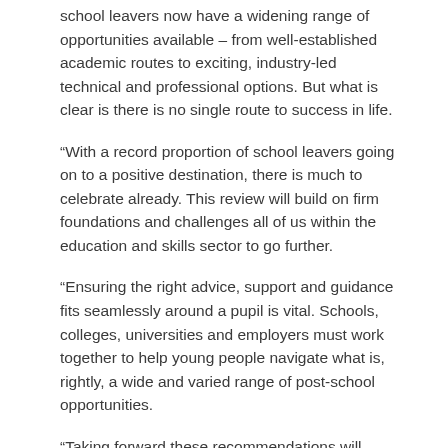school leavers now have a widening range of opportunities available – from well-established academic routes to exciting, industry-led technical and professional options. But what is clear is there is no single route to success in life.
“With a record proportion of school leavers going on to a positive destination, there is much to celebrate already. This review will build on firm foundations and challenges all of us within the education and skills sector to go further.
“Ensuring the right advice, support and guidance fits seamlessly around a pupil is vital. Schools, colleges, universities and employers must work together to help young people navigate what is, rightly, a wide and varied range of post-school opportunities.
“Taking forward these recommendations will require strong leadership across the sector but